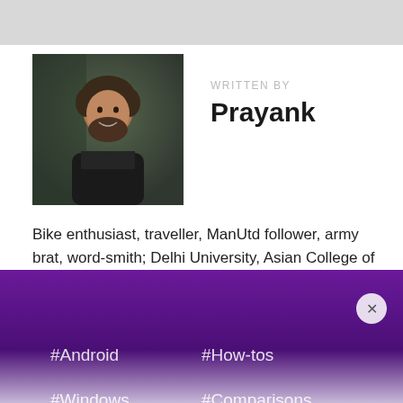[Figure (photo): Profile photo of Prayank, a man with curly hair and beard, dark jacket, outdoors]
WRITTEN BY
Prayank
Bike enthusiast, traveller, ManUtd follower, army brat, wordsmith; Delhi University, Asian College of Journalism, Cardiff University alumnus; a journalist breathing tech these days.
#Android
#How-tos
#Windows
#Comparisons
#Internet and Social
#Tips & Tricks
#iOS